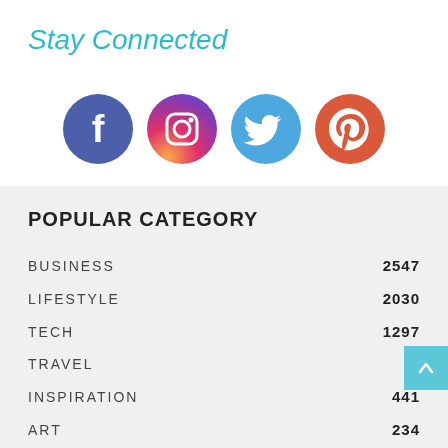Stay Connected
[Figure (illustration): Four social media icons in circles: Facebook (dark blue-purple), Instagram (gradient pink/purple/orange), Twitter (blue), Pinterest (red-orange)]
POPULAR CATEGORY
BUSINESS  2547
LIFESTYLE  2030
TECH  1297
TRAVEL
INSPIRATION  441
ART  234
NEWS  184